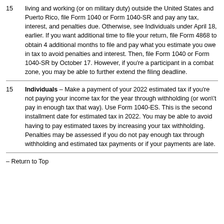15 living and working (or on military duty) outside the United States and Puerto Rico, file Form 1040 or Form 1040-SR and pay any tax, interest, and penalties due. Otherwise, see Individuals under April 18, earlier. If you want additional time to file your return, file Form 4868 to obtain 4 additional months to file and pay what you estimate you owe in tax to avoid penalties and interest. Then, file Form 1040 or Form 1040-SR by October 17. However, if you're a participant in a combat zone, you may be able to further extend the filing deadline.
15 Individuals – Make a payment of your 2022 estimated tax if you're not paying your income tax for the year through withholding (or won't pay in enough tax that way). Use Form 1040-ES. This is the second installment date for estimated tax in 2022. You may be able to avoid having to pay estimated taxes by increasing your tax withholding. Penalties may be assessed if you do not pay enough tax through withholding and estimated tax payments or if your payments are late.
– Return to Top